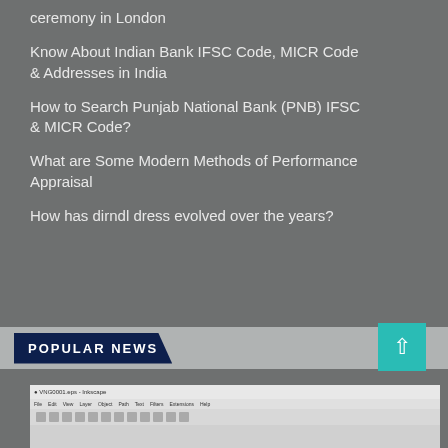ceremony in London
Know About Indian Bank IFSC Code, MICR Code & Addresses in India
How to Search Punjab National Bank (PNB) IFSC & MICR Code?
What are Some Modern Methods of Performance Appraisal
How has dirndl dress evolved over the years?
POPULAR NEWS
[Figure (screenshot): Screenshot of Inkscape application window showing title bar, menu bar, and toolbar]